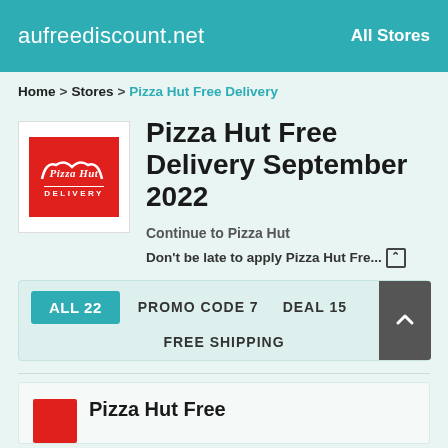aufreediscount.net   All Stores
Home > Stores > Pizza Hut Free Delivery
Pizza Hut Free Delivery September 2022
Continue to Pizza Hut
Don't be late to apply Pizza Hut Fre...
ALL 22   PROMO CODE 7   DEAL 15   FREE SHIPPING
Pizza Hut Free